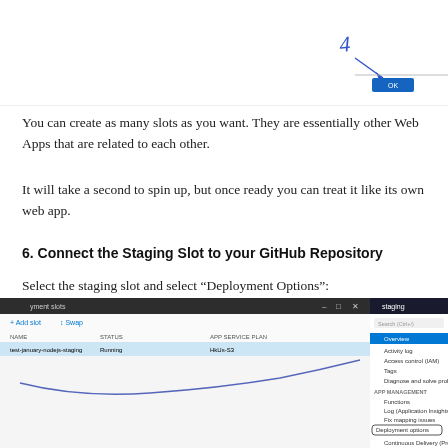[Figure (screenshot): Screenshot of Azure portal showing a deployment slot creation dialog with a blue button at bottom right. There is a handwritten number '4' with an arrow pointing to the button.]
You can create as many slots as you want. They are essentially other Web Apps that are related to each other.
It will take a second to spin up, but once ready you can treat it like its own web app.
6. Connect the Staging Slot to your GitHub Repository
Select the staging slot and select “Deployment Options”:
[Figure (screenshot): Screenshot of Azure portal showing deployment slots panel on the left with a staging slot listed, and on the right side a menu panel for the 'staging' web app with options including Overview, Activity log, Access control (IAM), Tags, Diagnose and solve problems, and under APP MANAGEMENT: Functions, Log (Application Insights), Fix mapping issues, Deployment options (circled), Continuous Delivery (Preview), and SETTINGS section.]